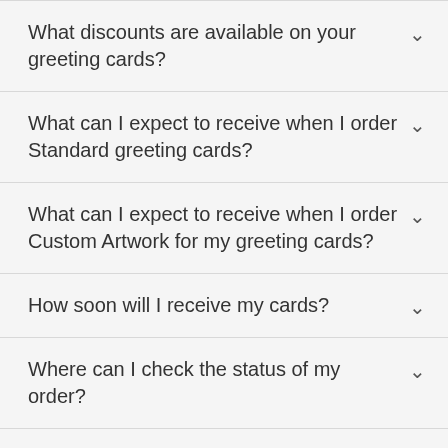What discounts are available on your greeting cards?
What can I expect to receive when I order Standard greeting cards?
What can I expect to receive when I order Custom Artwork for my greeting cards?
How soon will I receive my cards?
Where can I check the status of my order?
I need my cards fast. Do you offer a rush service?